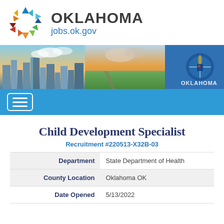[Figure (logo): Oklahoma jobs.ok.gov logo with colorful snowflake/pinwheel icon and text OKLAHOMA jobs.ok.gov]
[Figure (photo): Banner photo showing Oklahoma cityscape, open prairie road, and Oklahoma state flag]
[Figure (other): Blue navigation bar with hamburger menu button]
Child Development Specialist
Recruitment #220513-X32B-03
| Field | Value |
| --- | --- |
| Department | State Department of Health |
| County Location | Oklahoma OK |
| Date Opened | 5/13/2022 |